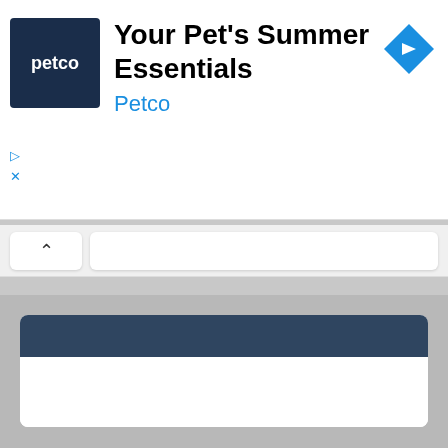[Figure (screenshot): Petco advertisement banner with blue logo square showing 'petco' text, headline 'Your Pet's Summer Essentials', subtext 'Petco' in blue, and a blue diamond navigation icon on the right]
[Figure (screenshot): Browser navigation bar with back chevron button and search bar]
[Figure (screenshot): Two UI cards with dark navy headers on a gray background, second card has an X close button]